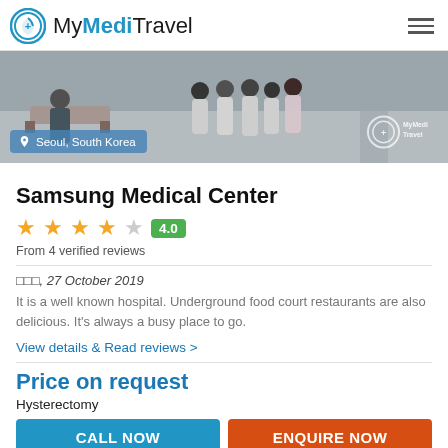MyMediTravel
[Figure (photo): Hospital lobby interior with medical staff walking, overlaid with Seoul, South Korea location badge and MyMediTravel watermark logo]
Samsung Medical Center
4.0 stars rating. From 4 verified reviews
□□□, 27 October 2019
It is a well known hospital. Underground food court restaurants are also delicious. It's always a busy place to go.
View details & Read reviews >
Price on request
Hysterectomy
CALL NOW   ENQUIRE NOW